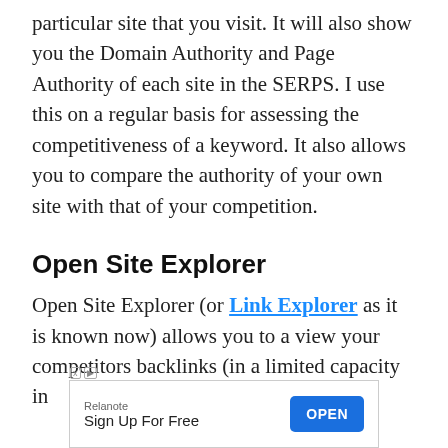particular site that you visit. It will also show you the Domain Authority and Page Authority of each site in the SERPS. I use this on a regular basis for assessing the competitiveness of a keyword. It also allows you to compare the authority of your own site with that of your competition.
Open Site Explorer
Open Site Explorer (or Link Explorer as it is known now) allows you to a view your competitors backlinks (in a limited capacity in
[Figure (other): Advertisement banner: Relanote - Sign Up For Free with an OPEN button]